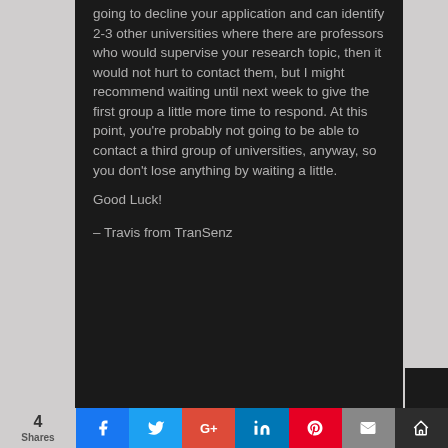going to decline your application and can identify 2-3 other universities where there are professors who would supervise your research topic, then it would not hurt to contact them, but I might recommend waiting until next week to give the first group a little more time to respond. At this point, you're probably not going to be able to contact a third group of universities, anyway, so you don't lose anything by waiting a little.
Good Luck!
– Travis from TranSenz
4 Shares | Facebook | Twitter | Google+ | LinkedIn | Pinterest | Email | More